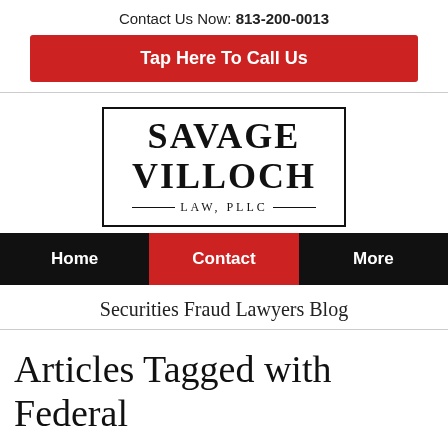Contact Us Now: 813-200-0013
Tap Here To Call Us
[Figure (logo): Savage Villoch Law, PLLC logo in a rectangular border with serif font]
Home | Contact | More
Securities Fraud Lawyers Blog
Articles Tagged with Federal